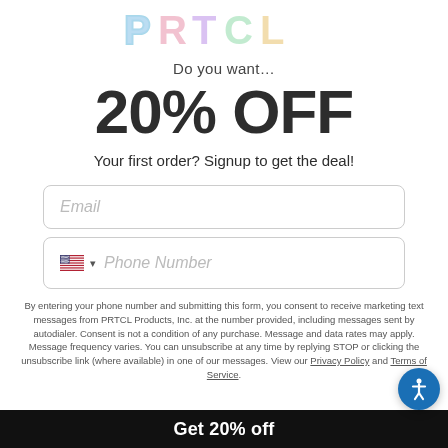[Figure (logo): PRTCL logo in colorful pastel gradient letters at top of page]
Do you want…
20% OFF
Your first order? Signup to get the deal!
[Figure (other): Email input field with placeholder text 'Email']
[Figure (other): Phone number input field with US flag selector and placeholder 'Phone Number']
By entering your phone number and submitting this form, you consent to receive marketing text messages from PRTCL Products, Inc. at the number provided, including messages sent by autodialer. Consent is not a condition of any purchase. Message and data rates may apply. Message frequency varies. You can unsubscribe at any time by replying STOP or clicking the unsubscribe link (where available) in one of our messages. View our Privacy Policy and Terms of Service.
Get 20% off